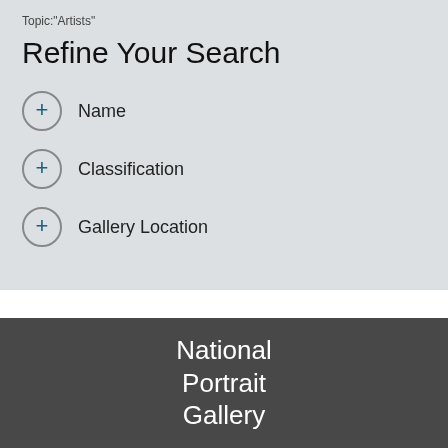Topic:"Artists"
Refine Your Search
Name
Classification
Gallery Location
National Portrait Gallery